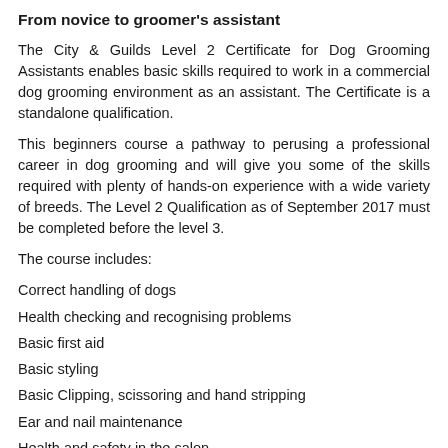From novice to groomer's assistant
The City & Guilds Level 2 Certificate for Dog Grooming Assistants enables basic skills required to work in a commercial dog grooming environment as an assistant. The Certificate is a standalone qualification.
This beginners course a pathway to perusing a professional career in dog grooming and will give you some of the skills required with plenty of hands-on experience with a wide variety of breeds. The Level 2 Qualification as of September 2017 must be completed before the level 3.
The course includes:
Correct handling of dogs
Health checking and recognising problems
Basic first aid
Basic styling
Basic Clipping, scissoring and hand stripping
Ear and nail maintenance
Health and safety in the salon